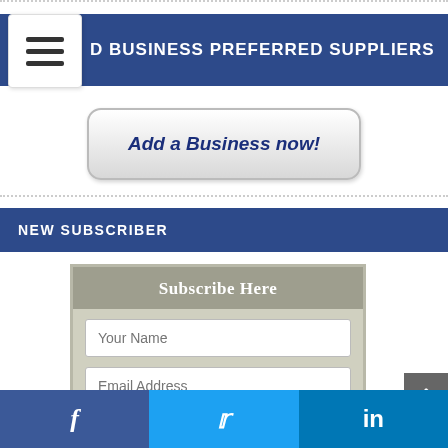D BUSINESS PREFERRED SUPPLIERS
[Figure (screenshot): Add a Business now! button with gradient background]
NEW SUBSCRIBER
[Figure (screenshot): Subscribe Here form with Your Name, Email Address fields and capital city question]
Social media icons: Facebook, Twitter, LinkedIn